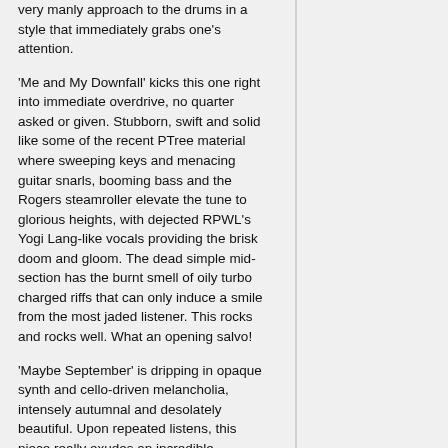very manly approach to the drums in a style that immediately grabs one's attention.
'Me and My Downfall' kicks this one right into immediate overdrive, no quarter asked or given. Stubborn, swift and solid like some of the recent PTree material where sweeping keys and menacing guitar snarls, booming bass and the Rogers steamroller elevate the tune to glorious heights, with dejected RPWL's Yogi Lang-like vocals providing the brisk doom and gloom. The dead simple mid-section has the burnt smell of oily turbo charged riffs that can only induce a smile from the most jaded listener. This rocks and rocks well. What an opening salvo!
'Maybe September' is dripping in opaque synth and cello-driven melancholia, intensely autumnal and desolately beautiful. Upon repeated listens, this piece really exudes an incredible emotional intensity, a trembling Tony Wright vocal full of pain and delicate